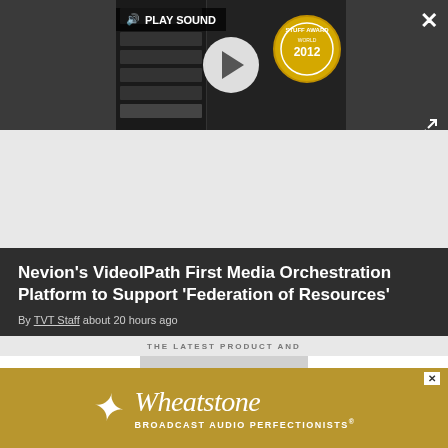[Figure (screenshot): Video player overlay with play button, sound bar, award badge showing 'Stuff Award World 2012', close button (X), and expand/fullscreen button]
[Figure (screenshot): Thumbnail image placeholder in light gray content area]
Nevion's VideoIPath First Media Orchestration Platform to Support 'Federation of Resources'
By TVT Staff about 20 hours ago
[Figure (illustration): Wheatstone advertisement banner with feather leaf logo, italic Wheatstone wordmark, and tagline 'BROADCAST AUDIO PERFECTIONISTS®' on gold background, with X close button]